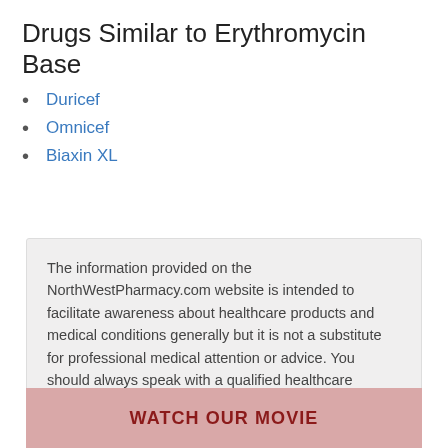Drugs Similar to Erythromycin Base
Duricef
Omnicef
Biaxin XL
The information provided on the NorthWestPharmacy.com website is intended to facilitate awareness about healthcare products and medical conditions generally but it is not a substitute for professional medical attention or advice. You should always speak with a qualified healthcare practitioner before taking any prescription or non-prescription drug.
WATCH OUR MOVIE